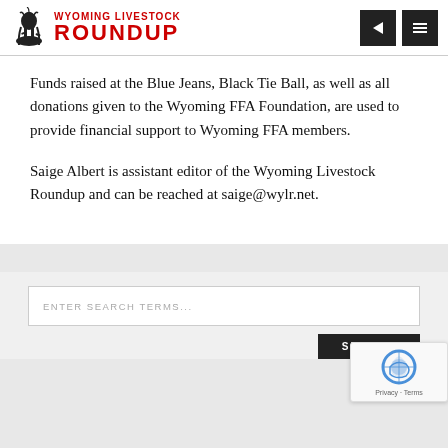Wyoming Livestock Roundup
Funds raised at the Blue Jeans, Black Tie Ball, as well as all donations given to the Wyoming FFA Foundation, are used to provide financial support to Wyoming FFA members.
Saige Albert is assistant editor of the Wyoming Livestock Roundup and can be reached at saige@wylr.net.